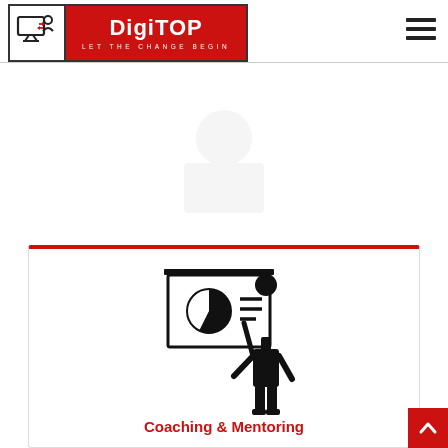DigiTOP - LET THE CHANGE BEGIN
[Figure (logo): DigiTOP logo with icon showing two people connected to a computer, red background with white text 'DigiTOP' and tagline 'LET THE CHANGE BEGIN']
[Figure (illustration): Hamburger menu icon (three horizontal lines) in top right corner]
[Figure (illustration): Black silhouette icon of a presenter standing next to a presentation board showing a pie chart, inside a white card with red top border]
Coaching & Mentoring